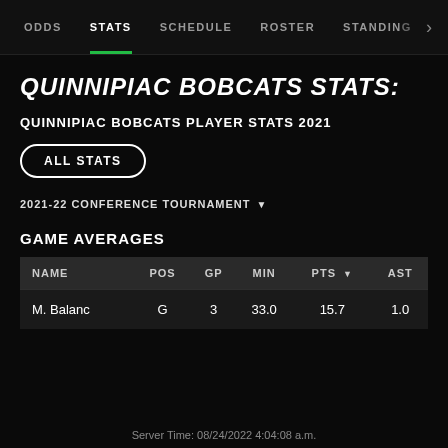ODDS  STATS  SCHEDULE  ROSTER  STANDINGS
QUINNIPIAC BOBCATS STATS:
QUINNIPIAC BOBCATS PLAYER STATS 2021
ALL STATS
2021-22 CONFERENCE TOURNAMENT ▼
GAME AVERAGES
| NAME | POS | GP | MIN | PTS ▼ | AST |
| --- | --- | --- | --- | --- | --- |
| M. Balanc | G | 3 | 33.0 | 15.7 | 1.0 |
Server Time: 08/24/2022 4:04:08 a.m.